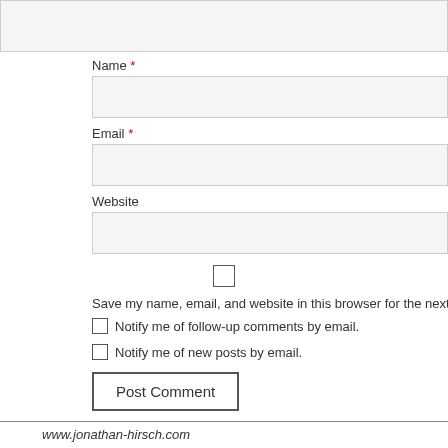[textarea input box]
Name *
[Name input field]
Email *
[Email input field]
Website
[Website input field]
[checkbox] Save my name, email, and website in this browser for the next time I comment.
[checkbox] Notify me of follow-up comments by email.
[checkbox] Notify me of new posts by email.
Post Comment
www.jonathan-hirsch.com